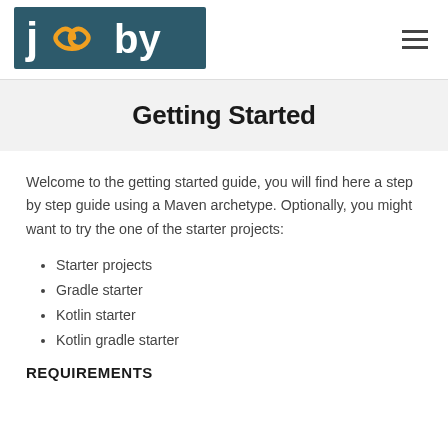[Figure (logo): Jooby logo — teal/dark rectangle with 'jooby' text in white and orange infinity symbol]
Getting Started
Welcome to the getting started guide, you will find here a step by step guide using a Maven archetype. Optionally, you might want to try the one of the starter projects:
Starter projects
Gradle starter
Kotlin starter
Kotlin gradle starter
REQUIREMENTS